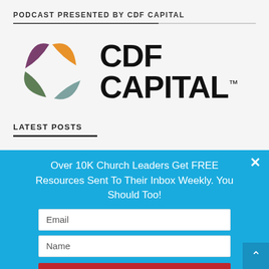PODCAST PRESENTED BY CDF CAPITAL
[Figure (logo): CDF Capital logo with colorful pinwheel/leaf shapes (purple, orange, green) and bold text 'CDF CAPITAL' with trademark symbol]
LATEST POSTS
Over 10K Church Leaders Get FREE Resources Sent To Their Inbox Weekly. You Should Too!
Email
Name
SIGN ME UP